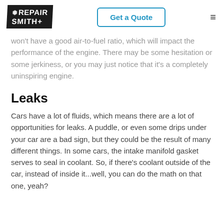RepairSmith — Get a Quote
won't have a good air-to-fuel ratio, which will impact the performance of the engine. There may be some hesitation or some jerkiness, or you may just notice that it's a completely uninspiring engine.
Leaks
Cars have a lot of fluids, which means there are a lot of opportunities for leaks. A puddle, or even some drips under your car are a bad sign, but they could be the result of many different things. In some cars, the intake manifold gasket serves to seal in coolant. So, if there's coolant outside of the car, instead of inside it...well, you can do the math on that one, yeah?